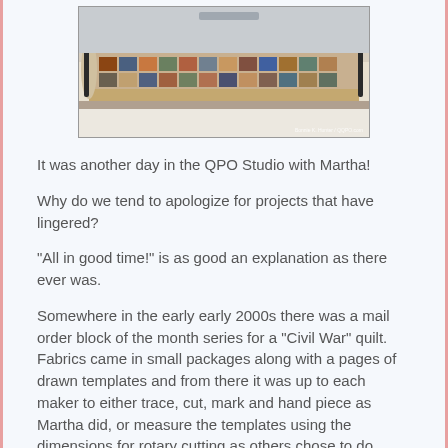[Figure (photo): A quilt laid out on a long table in a studio, showing a colorful patchwork 'Civil War' style quilt being prepared for quilting, viewed from an angle.]
It was another day in the QPO Studio with Martha!
Why do we tend to apologize for projects that have lingered?
"All in good time!" is as good an explanation as there ever was.
Somewhere in the early early 2000s there was a mail order block of the month series for a "Civil War" quilt. Fabrics came in small packages along with a pages of drawn templates and from there it was up to each maker to either trace, cut, mark and hand piece as Martha did, or measure the templates using the dimensions for rotary cutting as others chose to do.